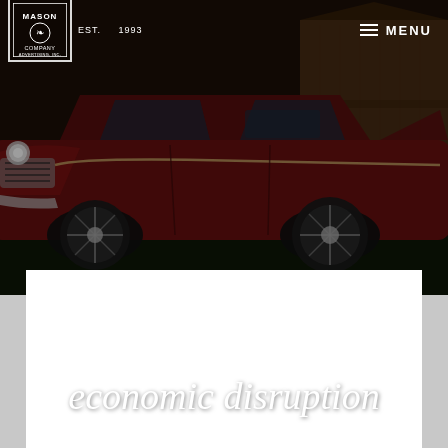[Figure (photo): Dark cinematic photo of a classic 1957 Chevrolet station wagon in dark red/maroon color parked outdoors, with a wooden barn-like structure visible in the background. The image is darkened/dimmed with dramatic lighting.]
EST. 1993 | MASON COMPANY ADVERTISING, INC. | MENU
economic disruption